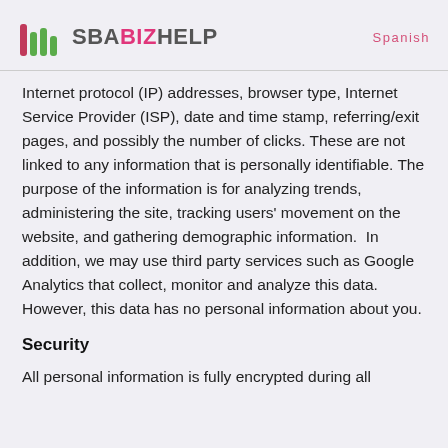SBABIZHELP  Spanish
Internet protocol (IP) addresses, browser type, Internet Service Provider (ISP), date and time stamp, referring/exit pages, and possibly the number of clicks. These are not linked to any information that is personally identifiable. The purpose of the information is for analyzing trends, administering the site, tracking users' movement on the website, and gathering demographic information.  In addition, we may use third party services such as Google Analytics that collect, monitor and analyze this data. However, this data has no personal information about you.
Security
All personal information is fully encrypted during all